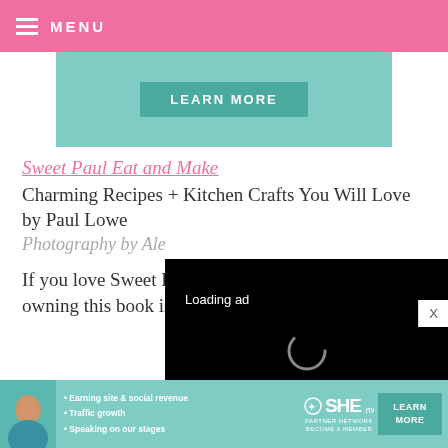≡ MENU
[Figure (other): Teal/mint colored banner with a 'LEARN MORE' button]
Sweet Paul Eat and Make
Charming Recipes + Kitchen Crafts You Will Love
by Paul Lowe
Photography by Ale
[Figure (screenshot): Black video overlay showing 'Loading ad' text with spinning loader and playback controls (pause, expand, mute)]
If you love Sweet Pa owning this book is a
photographed and full of comfort and charm, this
[Figure (advertisement): SHE Partner Network advertisement at bottom: teal background with woman photo, bullet points 'Earning site & social revenue', 'Traffic growth', 'Speaking on our stages', SHE PARTNER NETWORK BECOME A MEMBER logo, and LEARN MORE button]